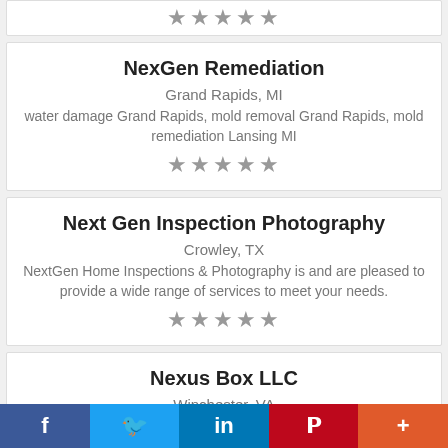★★★★★
NexGen Remediation
Grand Rapids, MI
water damage Grand Rapids, mold removal Grand Rapids, mold remediation Lansing MI
★★★★★
Next Gen Inspection Photography
Crowley, TX
NextGen Home Inspections & Photography is and are pleased to provide a wide range of services to meet your needs.
★★★★★
Nexus Box LLC
Winchester, VA